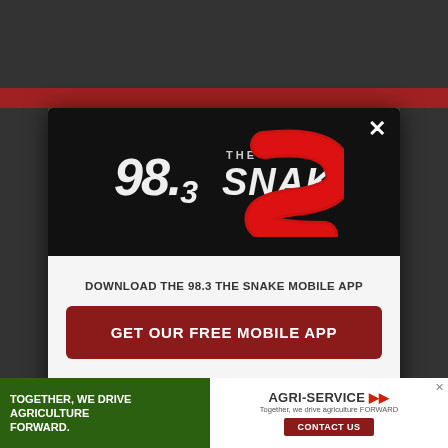[Figure (logo): 98.3 The Snake radio station logo — white distressed '98.3' numerals and 'THE SNAKE' text with a large red snake-S swoosh on black background]
DOWNLOAD THE 98.3 THE SNAKE MOBILE APP
GET OUR FREE MOBILE APP
Also listen on:  amazon alexa
[Figure (infographic): Bottom advertisement banner: 'TOGETHER, WE DRIVE AGRICULTURE FORWARD.' on green background left side with tractor image; AGRI-SERVICE logo with 'Together, we drive agriculture FORWARD' and CONTACT US button on white right side]